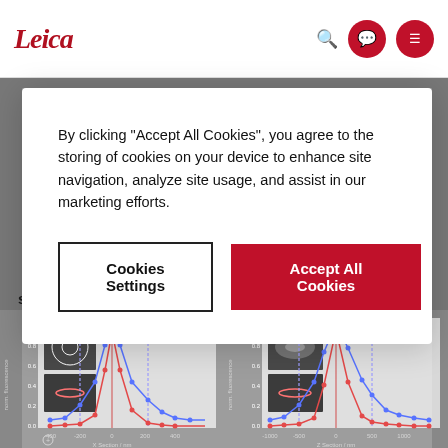Leica [navigation bar with search and menu icons]
structures close to each other below the refraction limit is not possible.
By clicking “Accept All Cookies”, you agree to the storing of cookies on your device to enhance site navigation, analyze site usage, and assist in our marketing efforts.
Cookies Settings
Accept All Cookies
[Figure (line-chart): X Section fluorescence profile]
[Figure (line-chart): Z Section fluorescence profile]